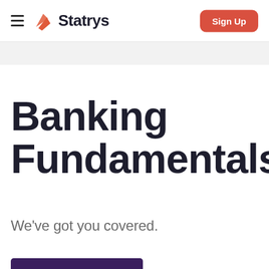Statrys — Sign Up
Banking Fundamentals
We've got you covered.